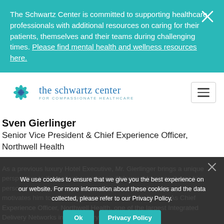The Schwartz Center is committed to supporting healthcare professionals with additional resources on caring for their patients, themselves and their teams during challenging times. Please find mental health and wellness resources here.
[Figure (logo): The Schwartz Center for Compassionate Healthcare logo with snowflake/star icon]
Sven Gierlinger
Senior Vice President & Chief Experience Officer, Northwell Health
As a previous luxury Hotel Executive, Mr. Gierlinger brings a unique perspective to the patient experience dialogue. However, it was his personal patient experience spending three months in hospitals that motivates him to challenge the status quo in healthcare. As Chief Experience Officer, Northwell Health, one of the largest Integrated Delivery Networks in the country. Mr.
We use cookies to ensure that we give you the best experience on our website. For more information about these cookies and the data collected, please refer to our Privacy Policy.